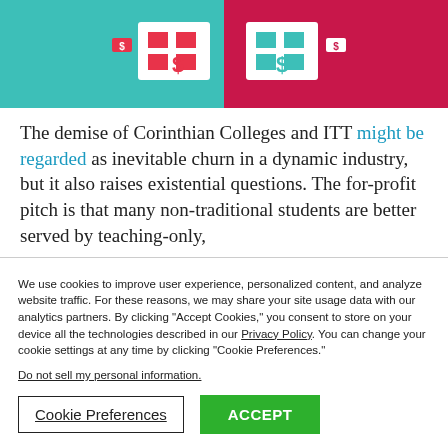[Figure (illustration): Colorful illustration with teal and red/pink background showing stylized building or financial icons with dollar signs]
The demise of Corinthian Colleges and ITT might be regarded as inevitable churn in a dynamic industry, but it also raises existential questions. The for-profit pitch is that many non-traditional students are better served by teaching-only,
We use cookies to improve user experience, personalized content, and analyze website traffic. For these reasons, we may share your site usage data with our analytics partners. By clicking “Accept Cookies,” you consent to store on your device all the technologies described in our Privacy Policy. You can change your cookie settings at any time by clicking “Cookie Preferences.”
Do not sell my personal information.
Cookie Preferences
ACCEPT